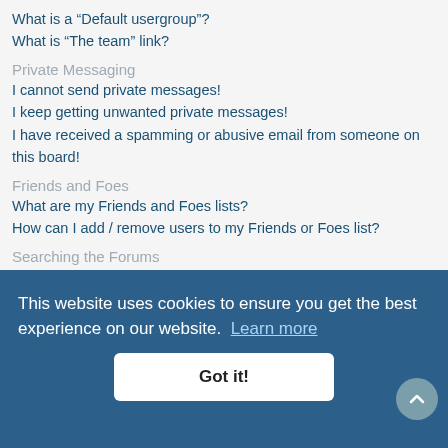What is a “Default usergroup”?
What is “The team” link?
Private Messaging
I cannot send private messages!
I keep getting unwanted private messages!
I have received a spamming or abusive email from someone on this board!
Friends and Foes
What are my Friends and Foes lists?
How can I add / remove users to my Friends or Foes list?
Searching the Forums
How can I search a forum or forums?
Why does my search return no results?
Why does my search return a blank page!?
How do I search for members?
How can I find my own posts and topics?
Subscriptions and Bookmarks
What is the difference between bookmarking and subscribing?
This website uses cookies to ensure you get the best experience on our website. Learn more